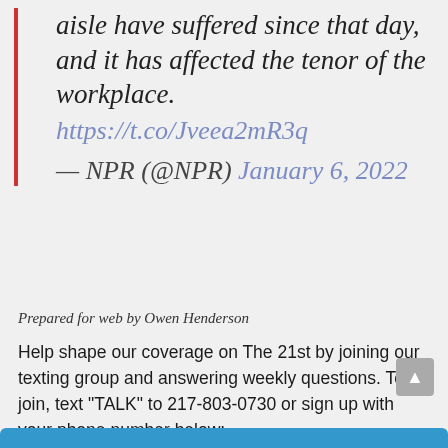aisle have suffered since that day, and it has affected the tenor of the workplace. https://t.co/Jveea2mR3q
— NPR (@NPR) January 6, 2022
Prepared for web by Owen Henderson
Help shape our coverage on The 21st by joining our texting group and answering weekly questions. To join, text "TALK" to 217-803-0730 or sign up with your phone number below: